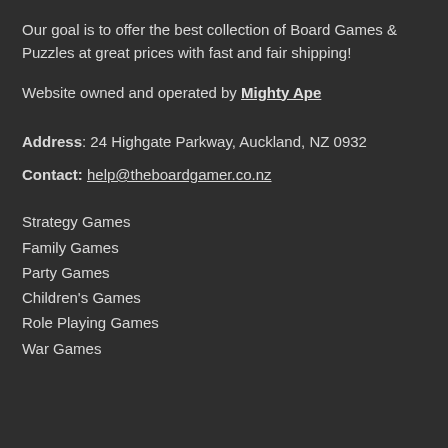Our goal is to offer the best collection of Board Games & Puzzles at great prices with fast and fair shipping!
Website owned and operated by Mighty Ape
Address: 24 Highgate Parkway, Auckland, NZ 0932
Contact: help@theboardgamer.co.nz
Strategy Games
Family Games
Party Games
Children's Games
Role Playing Games
War Games